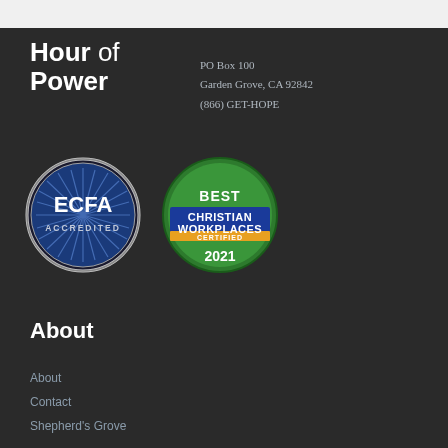Hour of Power
PO Box 100
Garden Grove, CA 92842
(866) GET-HOPE
[Figure (logo): ECFA Accredited circular badge with blue sunburst design]
[Figure (logo): Best Christian Workplaces Certified 2021 badge with green circle and blue banner]
About
About
Contact
Shepherd's Grove